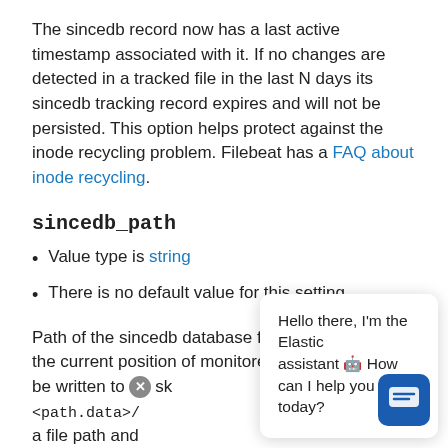The sincedb record now has a last active timestamp associated with it. If no changes are detected in a tracked file in the last N days its sincedb tracking record expires and will not be persisted. This option helps protect against the inode recycling problem. Filebeat has a FAQ about inode recycling.
sincedb_path
Value type is string
There is no default value for this setting.
Path of the sincedb database file (keeps track of the current position of monitored log files) that will be written to disk. Defaults to saving files to <path.data>/... mu a file path and
Hello there, I'm the Elastic assistant 🤖 How can I help you today?